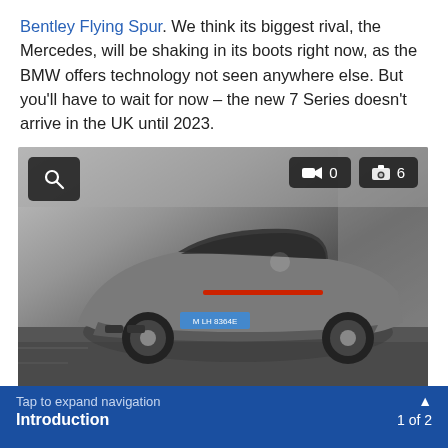Bentley Flying Spur. We think its biggest rival, the Mercedes, will be shaking in its boots right now, as the BMW offers technology not seen anywhere else. But you'll have to wait for now – the new 7 Series doesn't arrive in the UK until 2023.
[Figure (photo): Rear three-quarter view of a grey BMW 7 Series (plate M LH 8364E) driving through a tunnel, with overlay icons: a magnify icon top-left, a video badge showing 0 top-right, and a photo badge showing 6 top-right.]
Tap to expand navigation  Introduction  1 of 2